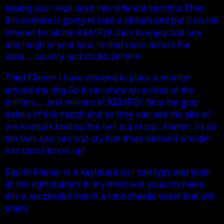seeing your skull bash into different sections.Then this camera is going to take a picture and put it on the internet for all the KEMP2K fans to enjoy and see and laugh at your fans in chat room across the state....country and WORLD!!!!!!!!!
Third Flamer I have decided to place a monitor around the ring.So it can show on screen of the millions.....and millions of KEMP2K fans the gory details of this match and so they can see the site of me Kemp2k beating the hell out of you, Flamer so all the fans can see and cry that there beloved wrestler has beat Flamer up!
Fourth Flamer is a keyboard so I can type and push all the right buttons in my mind and yours to make this a successful match a total chaotic event that will totally